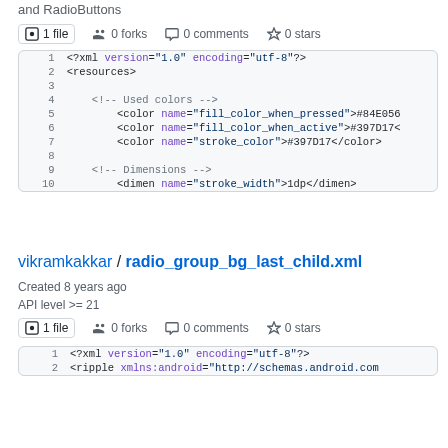and RadioButtons
⊙ 1 file  🔱 0 forks  💬 0 comments  ☆ 0 stars
[Figure (screenshot): Code block showing XML file with line numbers 1-10 containing <?xml version, <resources>, color and dimen elements]
vikramkakkar / radio_group_bg_last_child.xml
Created 8 years ago
API level >= 21
⊙ 1 file  🔱 0 forks  💬 0 comments  ☆ 0 stars
[Figure (screenshot): Code block showing XML file with line numbers 1-2 containing <?xml version and <ripple elements]